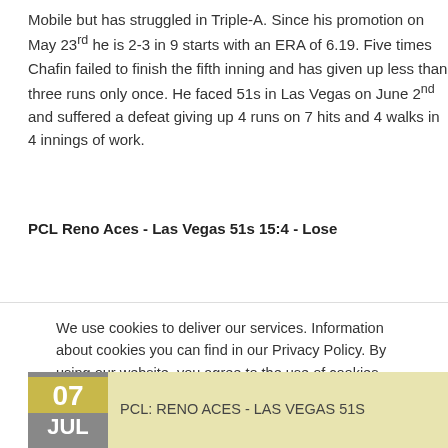Mobile but has struggled in Triple-A. Since his promotion on May 23rd he is 2-3 in 9 starts with an ERA of 6.19. Five times Chafin failed to finish the fifth inning and has given up less than three runs only once. He faced 51s in Las Vegas on June 2nd and suffered a defeat giving up 4 runs on 7 hits and 4 walks in 4 innings of work.
PCL Reno Aces - Las Vegas 51s 15:4 - Lose
We use cookies to deliver our services. Information about cookies you can find in our Privacy Policy. By using our website, you agree to the use of cookies.. Learn more
07 JUL PCL: RENO ACES - LAS VEGAS 51S